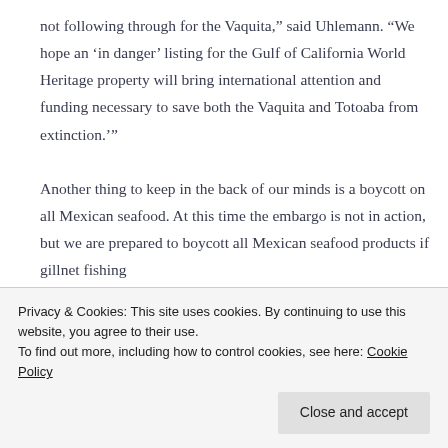not following through for the Vaquita," said Uhlemann. “We hope an ‘in danger’ listing for the Gulf of California World Heritage property will bring international attention and funding necessary to save both the Vaquita and Totoaba from extinction.’”
Another thing to keep in the back of our minds is a boycott on all Mexican seafood. At this time the embargo is not in action, but we are prepared to boycott all Mexican seafood products if gillnet fishing
Privacy & Cookies: This site uses cookies. By continuing to use this website, you agree to their use.
To find out more, including how to control cookies, see here: Cookie Policy
Close and accept